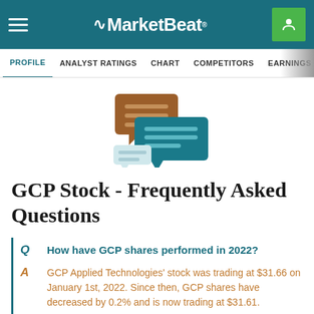MarketBeat
PROFILE  ANALYST RATINGS  CHART  COMPETITORS  EARNINGS  FINANCIALS
[Figure (illustration): Two chat/speech bubble icons: one brown and one teal, representing FAQ conversation]
GCP Stock - Frequently Asked Questions
Q  How have GCP shares performed in 2022?
A  GCP Applied Technologies' stock was trading at $31.66 on January 1st, 2022. Since then, GCP shares have decreased by 0.2% and is now trading at $31.61.